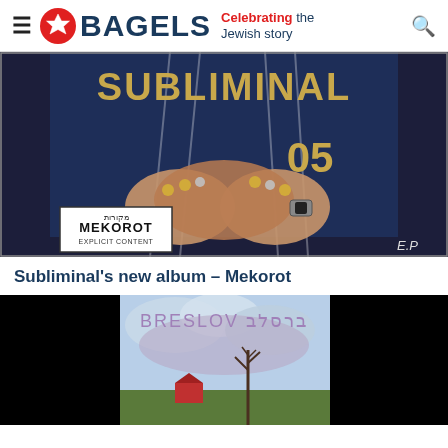BAGELS — Celebrating the Jewish story
[Figure (photo): Album cover for Subliminal's Mekorot EP — person in a navy sports jersey with 'SUBLIMINAL 05' text, clasping hands showing rings and a watch, with a parental advisory style label reading 'MEKOROT EXPLICIT CONTENT' in lower left and 'E.P' in lower right]
Subliminal's new album – Mekorot
[Figure (photo): Album cover for Breslov — text 'BRESLOV ברסלב' in purple letters on a painted landscape showing a cloudy sky, bare tree, and red/green scenery, with black borders on left and right sides]